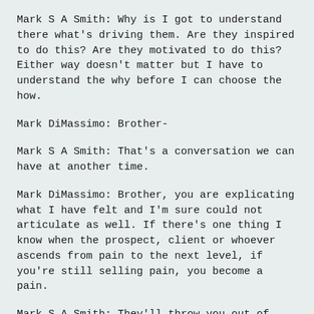Mark S A Smith: Why is I got to understand there what's driving them. Are they inspired to do this? Are they motivated to do this? Either way doesn't matter but I have to understand the why before I can choose the how.
Mark DiMassimo: Brother-
Mark S A Smith: That's a conversation we can have at another time.
Mark DiMassimo: Brother, you are explicating what I have felt and I'm sure could not articulate as well. If there's one thing I know when the prospect, client or whoever ascends from pain to the next level, if you're still selling pain, you become a pain.
Mark S A Smith: They'll throw you out of their office.
Mark DiMassimo: They'll throw you out of their